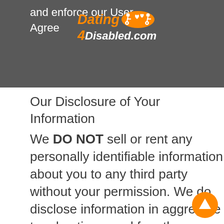and enforce our User Agreement.
[Figure (logo): Dating4Disabled.com logo with orange text and heart icons]
Our Disclosure of Your Information
We DO NOT sell or rent any personally identifiable information about you to any third party without your permission. We do disclose information in aggregate to advertisers and for other marketing